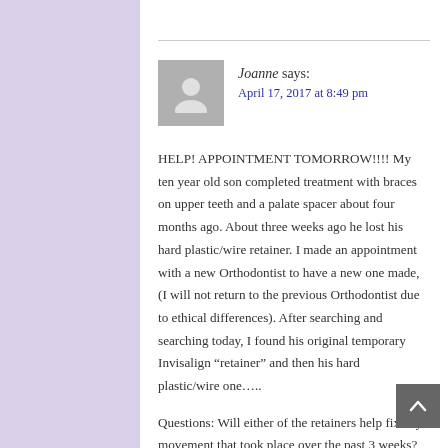Joanne says: April 17, 2017 at 8:49 pm
HELP! APPOINTMENT TOMORROW!!!! My ten year old son completed treatment with braces on upper teeth and a palate spacer about four months ago. About three weeks ago he lost his hard plastic/wire retainer. I made an appointment with a new Orthodontist to have a new one made, (I will not return to the previous Orthodontist due to ethical differences). After searching and searching today, I found his original temporary Invisalign “retainer” and then his hard plastic/wire one…..
Questions: Will either of the retainers help fix any movement that took place over the past 3 weeks? Which one? And do I still need to have a new one made with a new mold? Could the palate